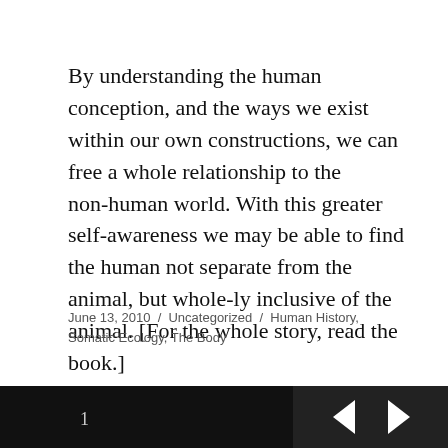By understanding the human conception, and the ways we exist within our own constructions, we can free a whole relationship to the non-human world. With this greater self-awareness we may be able to find the human not separate from the animal, but whole-ly inclusive of the animal. [For the whole story, read the book.]
June 13, 2010 / Uncategorized / Human History, Somatic Ecology, The Body